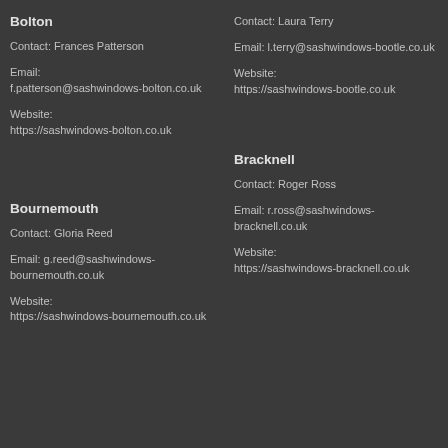Bolton
Contact: Frances Patterson
Email: f.patterson@sashwindows-bolton.co.uk
Website: https://sashwindows-bolton.co.uk
Bournemouth
Contact: Gloria Reed
Email: g.reed@sashwindows-bournemouth.co.uk
Website: https://sashwindows-bournemouth.co.uk
Contact: Laura Terry
Email: l.terry@sashwindows-bootle.co.uk
Website: https://sashwindows-bootle.co.uk
Bracknell
Contact: Roger Ross
Email: r.ross@sashwindows-bracknell.co.uk
Website: https://sashwindows-bracknell.co.uk